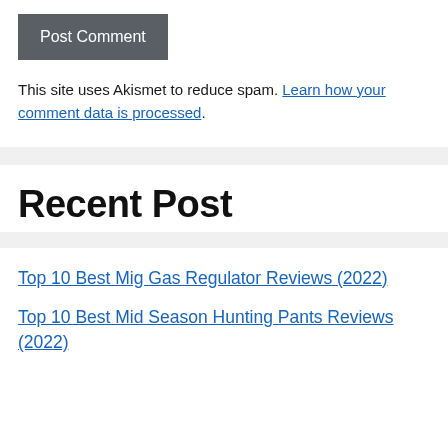Post Comment
This site uses Akismet to reduce spam. Learn how your comment data is processed.
Recent Post
Top 10 Best Mig Gas Regulator Reviews (2022)
Top 10 Best Mid Season Hunting Pants Reviews (2022)